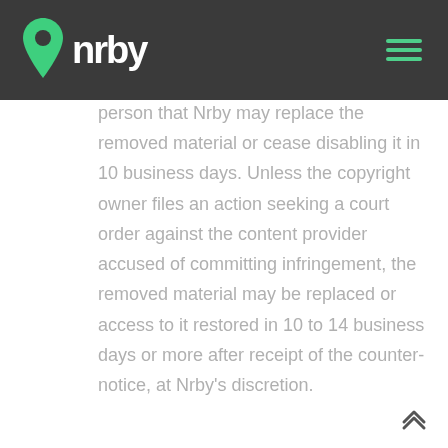nrby
person that Nrby may replace the removed material or cease disabling it in 10 business days. Unless the copyright owner files an action seeking a court order against the content provider accused of committing infringement, the removed material may be replaced or access to it restored in 10 to 14 business days or more after receipt of the counter-notice, at Nrby's discretion.